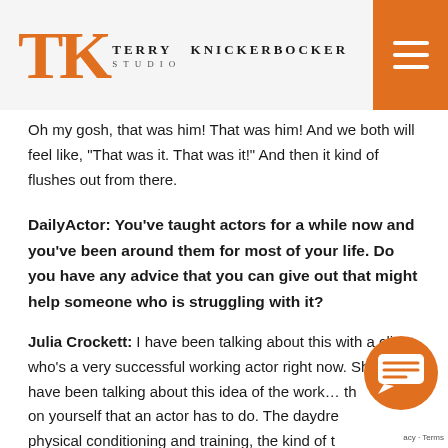Terry Knickerbocker Studio
Oh my gosh, that was him! That was him! And we both will feel like, “That was it. That was it!” And then it kind of flushes out from there.
DailyActor: You’ve taught actors for a while now and you’ve been around them for most of your life. Do you have any advice that you can give out that might help someone who is struggling with it?
Julia Crockett: I have been talking about this with a client who’s a very successful working actor right now. She and I have been talking about this idea of the work… the work on yourself that an actor has to do. The daydreaming, physical conditioning and training, the kind of thinking of yourself as really being the project. The work on yourself
[Figure (other): Orange circular chat/message widget icon in bottom right corner]
acy - Terms